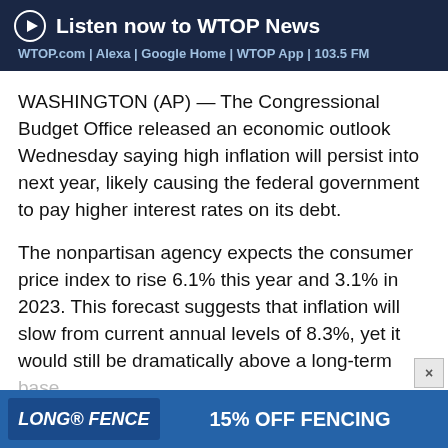Listen now to WTOP News
WTOP.com | Alexa | Google Home | WTOP App | 103.5 FM
WASHINGTON (AP) — The Congressional Budget Office released an economic outlook Wednesday saying high inflation will persist into next year, likely causing the federal government to pay higher interest rates on its debt.
The nonpartisan agency expects the consumer price index to rise 6.1% this year and 3.1% in 2023. This forecast suggests that inflation will slow from current annual levels of 8.3%, yet it would still be dramatically above a long-term base[line…]
[Figure (other): Long Fence advertisement banner: 'LONG FENCE 15% OFF FENCING']